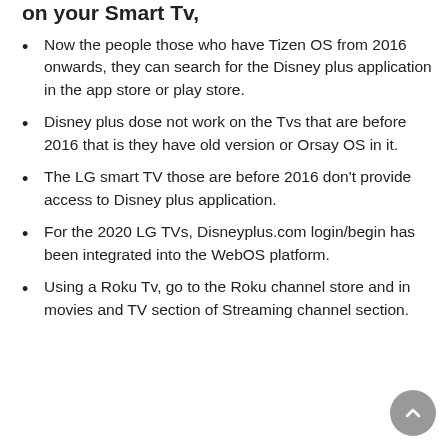on your Smart TV,
Now the people those who have Tizen OS from 2016 onwards, they can search for the Disney plus application in the app store or play store.
Disney plus dose not work on the Tvs that are before 2016 that is they have old version or Orsay OS in it.
The LG smart TV those are before 2016 don't provide access to Disney plus application.
For the 2020 LG TVs, Disneyplus.com login/begin has been integrated into the WebOS platform.
Using a Roku Tv, go to the Roku channel store and in movies and TV section of Streaming channel section.